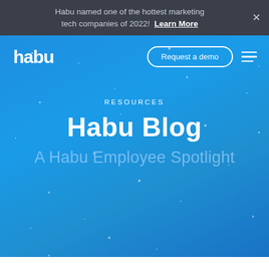Habu named one of the hottest marketing tech companies of 2022! Learn More
[Figure (screenshot): Habu website hero section with blue gradient background, navigation bar with Habu logo, 'Request a demo' button, hamburger menu, RESOURCES label, 'Habu Blog' title, and 'A Habu Employee Spotlight' subtitle. Scattered white dots/stars on blue background.]
Habu Blog
A Habu Employee Spotlight